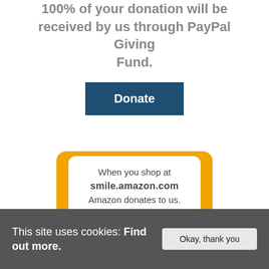100% of your donation will be received by us through PayPal Giving Fund.
[Figure (other): Donate button — dark teal/navy rectangle with white bold text reading 'Donate']
[Figure (other): Amazon Smile logo banner: orange rounded rectangle containing a white card with text 'When you shop at smile.amazon.com Amazon donates to us.' and below the card 'amazonsmile' branding in black and orange italic text on orange background]
This site uses cookies: Find out more.
Okay, thank you